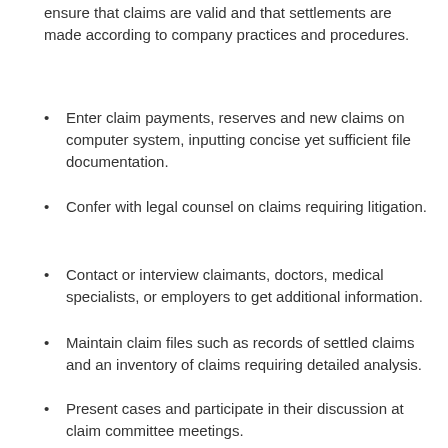ensure that claims are valid and that settlements are made according to company practices and procedures.
Enter claim payments, reserves and new claims on computer system, inputting concise yet sufficient file documentation.
Confer with legal counsel on claims requiring litigation.
Contact or interview claimants, doctors, medical specialists, or employers to get additional information.
Maintain claim files such as records of settled claims and an inventory of claims requiring detailed analysis.
Present cases and participate in their discussion at claim committee meetings.
Supervise claims adjusters to ensure that adjusters have followed proper methods.